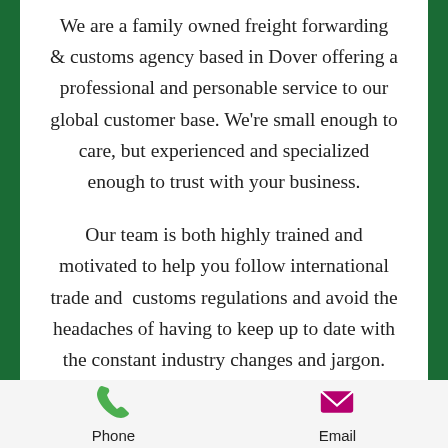We are a family owned freight forwarding & customs agency based in Dover offering a professional and personable service to our global customer base. We're small enough to care, but experienced and specialized enough to trust with your business.

Our team is both highly trained and motivated to help you follow international trade and  customs regulations and avoid the headaches of having to keep up to date with the constant industry changes and jargon.
Phone   Email